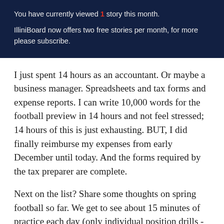You have currently viewed 1 story this month.
IlliniBoard now offers two free stories per month, for more please subscribe.
I just spent 14 hours as an accountant. Or maybe a business manager. Spreadsheets and tax forms and expense reports. I can write 10,000 words for the football preview in 14 hours and not feel stressed; 14 hours of this is just exhausting. BUT, I did finally reimburse my expenses from early December until today. And the forms required by the tax preparer are complete.
Next on the list? Share some thoughts on spring football so far. We get to see about 15 minutes of practice each day (only individual position drills - no actual football), and each day I go to our Slack channel and write up my